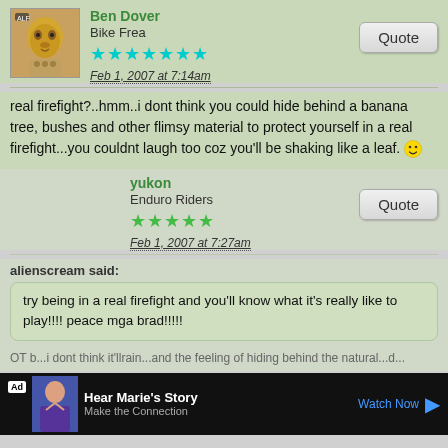Ben Dover
Bike Frea
Feb 1, 2007 at 7:14am
real firefight?..hmm..i dont think you could hide behind a banana tree, bushes and other flimsy material to protect yourself in a real firefight...you couldnt laugh too coz you'll be shaking like a leaf. 🙂
yukon
Enduro Riders
Feb 1, 2007 at 7:27am
alienscream said:
try being in a real firefight and you'll know what it's really like to play!!!! peace mga brad!!!!!
Ad  Hear Marie's Story  Make the Connection  Watch Now